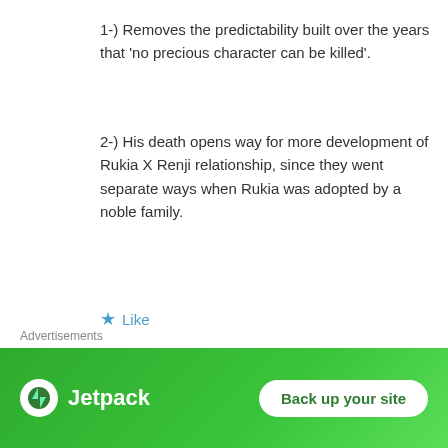1-) Removes the predictability built over the years that 'no precious character can be killed'.
2-) His death opens way for more development of Rukia X Renji relationship, since they went separate ways when Rukia was adopted by a noble family.
★ Like
Sunite
July 26, 2012 at 1:17 pm
So thats what it was! Damn i thought it was
Advertisements
[Figure (logo): Jetpack logo with 'Back up your site' button on green background]